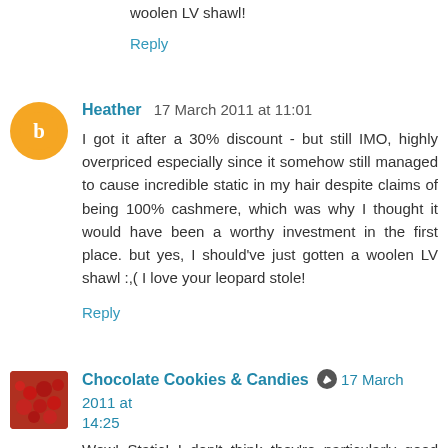woolen LV shawl!
Reply
Heather  17 March 2011 at 11:01
I got it after a 30% discount - but still IMO, highly overpriced especially since it somehow still managed to cause incredible static in my hair despite claims of being 100% cashmere, which was why I thought it would have been a worthy investment in the first place. but yes, I should've just gotten a woolen LV shawl :,( I love your leopard stole!
Reply
Chocolate Cookies & Candies  17 March 2011 at 14:25
Wow! Static! I don't think they're particularly good quality then. I've seen Loro Piana or Brora ones, they're divine!
My leopard stole got A LOT of wear. They're fragile compared to my Hermes shawl. The edges aren't stitched